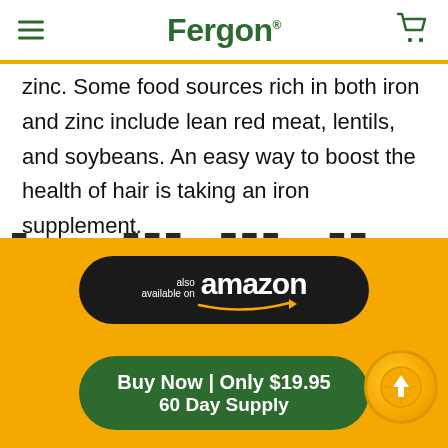Fergon
zinc. Some food sources rich in both iron and zinc include lean red meat, lentils, and soybeans. An easy way to boost the health of hair is taking an iron supplement.
[Figure (screenshot): Amazon available button (dark pill-shaped button with 'also available on amazon' text and arrow logo)]
[Figure (screenshot): Buy Now button (dark green pill-shaped button with 'Buy Now | Only $19.95 / 60 Day Supply' text)]
[Figure (illustration): Orange slice circle with upward arrow, scroll-to-top button]